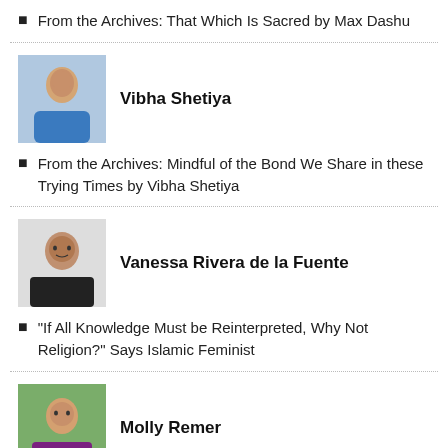From the Archives: That Which Is Sacred by Max Dashu
[Figure (photo): Portrait photo of Vibha Shetiya]
Vibha Shetiya
From the Archives: Mindful of the Bond We Share in these Trying Times by Vibha Shetiya
[Figure (photo): Portrait photo of Vanessa Rivera de la Fuente]
Vanessa Rivera de la Fuente
“If All Knowledge Must be Reinterpreted, Why Not Religion?” Says Islamic Feminist
[Figure (photo): Portrait photo of Molly Remer]
Molly Remer
Taking it to the Cauldron, by Molly Remer
[Figure (photo): Portrait photo of Xochitl Alvizo]
Xochitl Alvizo
Advancing Our Feminist and Womanist Theologies by Xochitl Alvizo